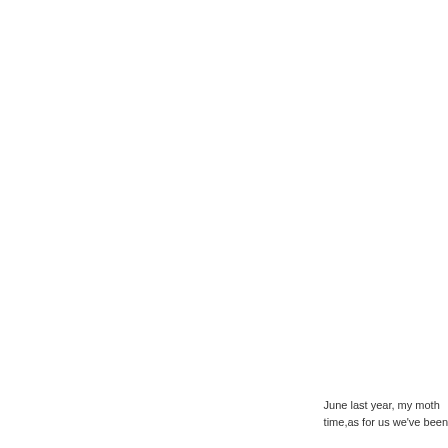June last year, my moth time,as for us we've been